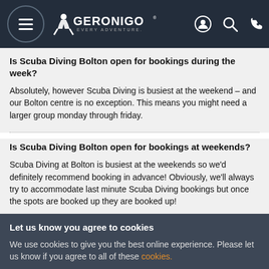Geronigo - Every Adventure. Navigation header with menu, logo, account, search, and phone icons.
Is Scuba Diving Bolton open for bookings during the week?
Absolutely, however Scuba Diving is busiest at the weekend – and our Bolton centre is no exception. This means you might need a larger group monday through friday.
Is Scuba Diving Bolton open for bookings at weekends?
Scuba Diving at Bolton is busiest at the weekends so we'd definitely recommend booking in advance! Obviously, we'll always try to accommodate last minute Scuba Diving bookings but once the spots are booked up they are booked up!
Let us know you agree to cookies
We use cookies to give you the best online experience. Please let us know if you agree to all of these cookies.
✓ OK   Take me to settings